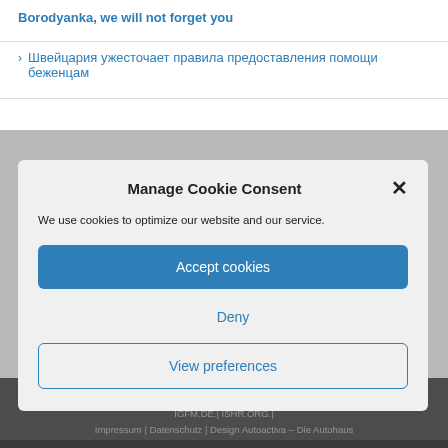Borodyanka, we will not forget you
Швейцария ужесточает правила предоставления помощи беженцам
Manage Cookie Consent
We use cookies to optimize our website and our service.
Accept cookies
Deny
View preferences
Copyright 2022 | All Rights Reserved | HUMANRIGHTS[...].ORG.| IGFM.DE.| ISHR.ORG.| Impressum | Datenschutz | Design Autoactiva – Die Autohaus